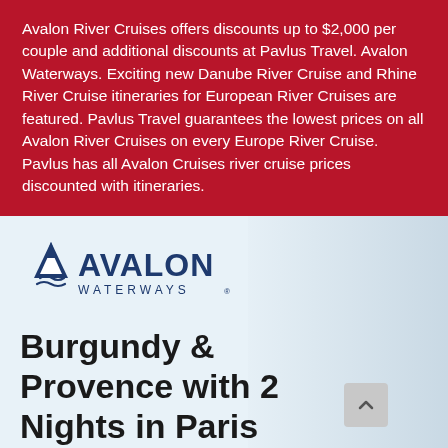Avalon River Cruises offers discounts up to $2,000 per couple and additional discounts at Pavlus Travel. Avalon Waterways. Exciting new Danube River Cruise and Rhine River Cruise itineraries for European River Cruises are featured. Pavlus Travel guarantees the lowest prices on all Avalon River Cruises on every Europe River Cruise. Pavlus has all Avalon Cruises river cruise prices discounted with itineraries.
[Figure (logo): Avalon Waterways logo — dark navy mountain/wave icon with AVALON text and WATERWAYS below]
Burgundy & Provence with 2 Nights in Paris (Southbound) 2022 –